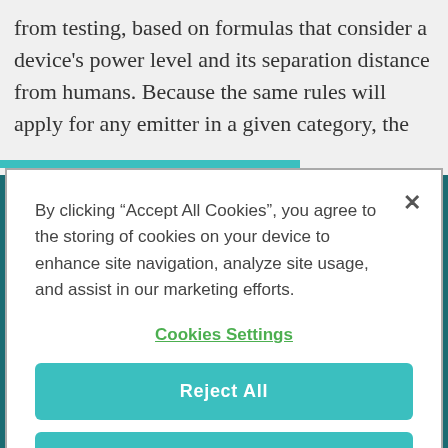from testing, based on formulas that consider a device's power level and its separation distance from humans. Because the same rules will apply for any emitter in a given category, the
By clicking "Accept All Cookies", you agree to the storing of cookies on your device to enhance site navigation, analyze site usage, and assist in our marketing efforts.
Cookies Settings
Reject All
Accept Cookies